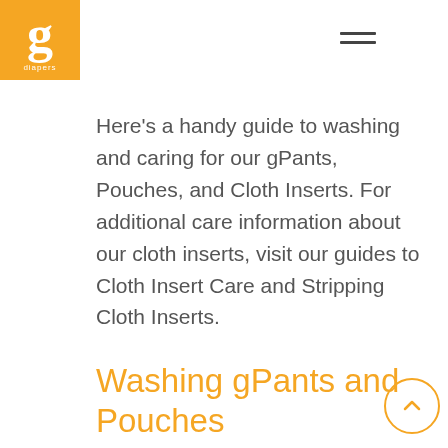[Figure (logo): gDiapers logo: orange square with white lowercase 'g' and 'diapers' text below]
[Figure (other): Hamburger menu icon with two horizontal lines]
Here's a handy guide to washing and caring for our gPants, Pouches, and Cloth Inserts. For additional care information about our cloth inserts, visit our guides to Cloth Insert Care and Stripping Cloth Inserts.
Washing gPants and Pouches
gPants only need to be washed when they get dirty or soiled, not
[Figure (other): Circular scroll-to-top button with upward chevron arrow, orange outline]